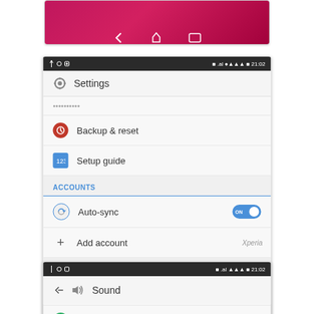[Figure (screenshot): Partial Android phone screenshot showing a pink/red navigation bar at the bottom with back, home, and recent apps icons]
[Figure (screenshot): Android phone Settings screen showing: Backup & reset, Setup guide, ACCOUNTS section with Auto-sync toggle (ON) and Add account, SYSTEM section with Date & time, Accessibility, Printing, Developer options, About phone. Has Xperia blog watermark overlay. Status bar shows 21:02.]
[Figure (screenshot): Partial Android phone screenshot showing Sound settings screen with status bar showing 21:02]